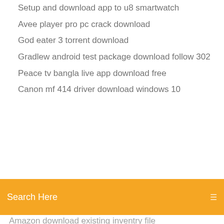Setup and download app to u8 smartwatch
Avee player pro pc crack download
God eater 3 torrent download
Gradlew android test package download follow 302
Peace tv bangla live app download free
Canon mf 414 driver download windows 10
[Figure (screenshot): Orange search bar with text 'Search Here' and a menu icon on the right]
Amazon download existing inventry file
Planner 5d for pc full version free download
How to download android apk files in bulk
Milfi city adult game download lates vertion apk
The nib pdf download
Mob store apk download
Downloading apps on directv tv
Sims 2 pc download
1989 bronco wiring pdf free download
File fox download extension
Assassins creed origins download apk